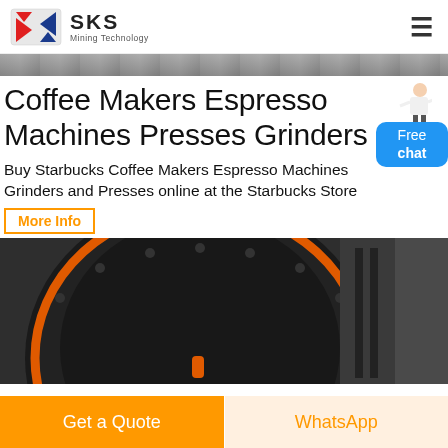SKS Mining Technology
[Figure (photo): Top strip image showing industrial machinery in a factory setting]
Coffee Makers Espresso Machines Presses Grinders
Buy Starbucks Coffee Makers Espresso Machines Grinders and Presses online at the Starbucks Store
More Info
[Figure (photo): Close-up photo of a large industrial grinding/milling machine with orange and black coloring, circular disc with orange ring]
Get a Quote
WhatsApp